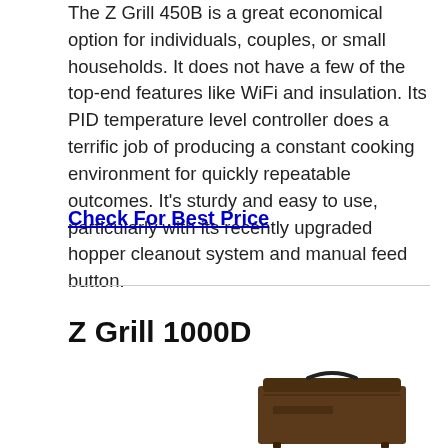The Z Grill 450B is a great economical option for individuals, couples, or small households. It does not have a few of the top-end features like WiFi and insulation. Its PID temperature level controller does a terrific job of producing a constant cooking environment for quickly repeatable outcomes. It's sturdy and easy to use, particularly with its recently upgraded hopper cleanout system and manual feed button.
Check For Best Price
Z Grill 1000D
[Figure (photo): Photo of a brown/dark Z Grill 1000D pellet grill, partially visible at bottom of page]